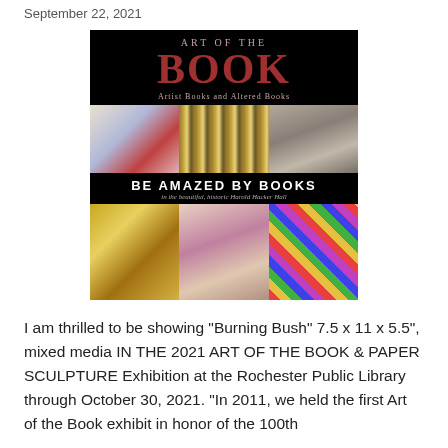September 22, 2021
[Figure (illustration): Art of the Book exhibition poster with black background. Top text reads 'ART OF THE' in small caps and 'BOOK' in large dark red letters, subtitle 'Artist Books and Altered Books'. Middle section shows a row of three book art images (polka dot pattern, gold vertical stripes, black and white). Center band reads 'BE AMAZED BY BOOKS' in white bold caps and 'in the beautiful, historic Harold Hacker Hall' in italic gray. Bottom row shows three more art images (gold feathers/leaves, colorful book collage, diagonal rainbow stripes).]
I am thrilled to be showing "Burning Bush" 7.5 x 11 x 5.5", mixed media IN THE 2021 ART OF THE BOOK & PAPER SCULPTURE Exhibition at the Rochester Public Library through October 30, 2021. “In 2011, we held the first Art of the Book exhibit in honor of the 100th